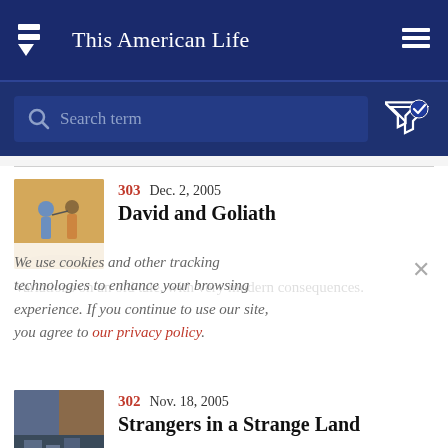This American Life
[Figure (screenshot): Search bar with magnifying glass icon and placeholder text 'Search term', with filter/check icon to the right]
[Figure (illustration): Medieval illustration thumbnail for episode 303 David and Goliath]
303 Dec. 2, 2005
David and Goliath
Variations on an old tale, with very modern consequences.
[Figure (photo): Thumbnail image for episode 302 Strangers in a Strange Land]
302 Nov. 18, 2005
Strangers in a Strange Land
Three people tell their stories from Iraq about the fighting, the locals, and why you subscribe to Details magazine.
We use cookies and other tracking technologies to enhance your browsing experience. If you continue to use our site, you agree to our privacy policy.